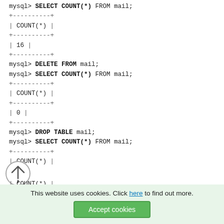mysql> SELECT COUNT(*) FROM mail;
+----------+
| COUNT(*) |
+----------+
| 16 |
+----------+
mysql> DELETE FROM mail;
mysql> SELECT COUNT(*) FROM mail;
+----------+
| COUNT(*) |
+----------+
| 0 |
+----------+
mysql> DROP TABLE mail;
mysql> SELECT COUNT(*) FROM mail;
+----------+
| COUNT(*) |
[Figure (other): Back/up navigation circle button with an upward arrow]
This website uses cookies. Click here to find out more. Accept cookies